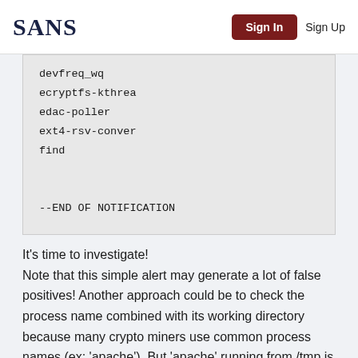SANS | Sign In | Sign Up
devfreq_wq
ecryptfs-kthrea
edac-poller
ext4-rsv-conver
find

--END OF NOTIFICATION
It's time to investigate!
Note that this simple alert may generate a lot of false positives! Another approach could be to check the process name combined with its working directory because many crypto miners use common process names (ex: 'apache'). But 'apache' running from /tmp is definitively